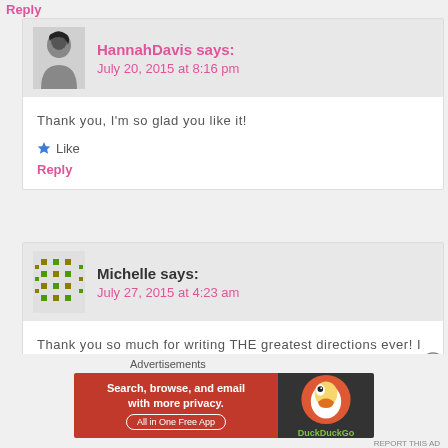Reply
HannahDavis says:
July 20, 2015 at 8:16 pm
Thank you, I’m so glad you like it!
★ Like
Reply
Michelle says:
July 27, 2015 at 4:23 am
Thank you so much for writing THE greatest directions ever! I to get the border on. I will send a picture as soon as I can. I a
★ Like
Advertisements
[Figure (infographic): DuckDuckGo advertisement banner: orange left side with text 'Search, browse, and email with more privacy. All in One Free App', dark right side with DuckDuckGo duck logo]